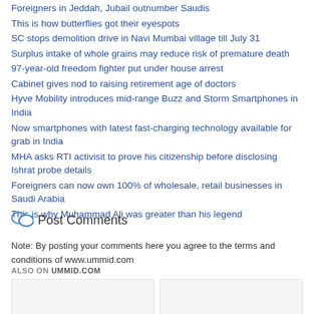Foreigners in Jeddah, Jubail outnumber Saudis
This is how butterflies got their eyespots
SC stops demolition drive in Navi Mumbai village till July 31
Surplus intake of whole grains may reduce risk of premature death
97-year-old freedom fighter put under house arrest
Cabinet gives nod to raising retirement age of doctors
Hyve Mobility introduces mid-range Buzz and Storm Smartphones in India
Now smartphones with latest fast-charging technology available for grab in India
MHA asks RTI activisit to prove his citizenship before disclosing Ishrat probe details
Foreigners can now own 100% of wholesale, retail businesses in Saudi Arabia
This is why Muhammad Ali was greater than his legend
Post Comments
Note: By posting your comments here you agree to the terms and conditions of www.ummid.com
ALSO ON UMMID.COM